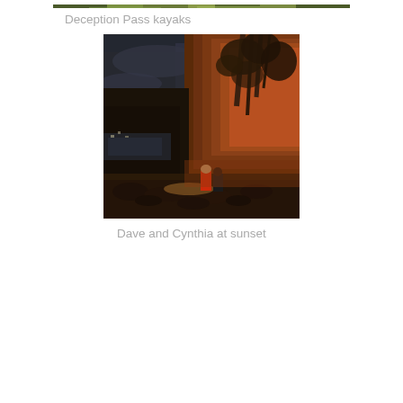[Figure (photo): Partial view of Deception Pass kayaks — nature/water scene with greenery, top strip]
Deception Pass kayaks
[Figure (photo): Dark, warm-toned dusk/sunset photo of two people (Dave and Cynthia) standing at the base of a large rocky cliff covered with trees, water visible in background, orange/amber lighting]
Dave and Cynthia at sunset